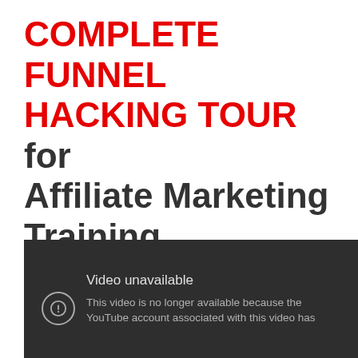COMPLETE FUNNEL HACKING TOUR for Affiliate Marketing Training inside the Simple Freedom Club
[Figure (screenshot): YouTube video unavailable message on dark background. Text reads: 'Video unavailable. This video is no longer available because the YouTube account associated with this video has' — message is cut off.]